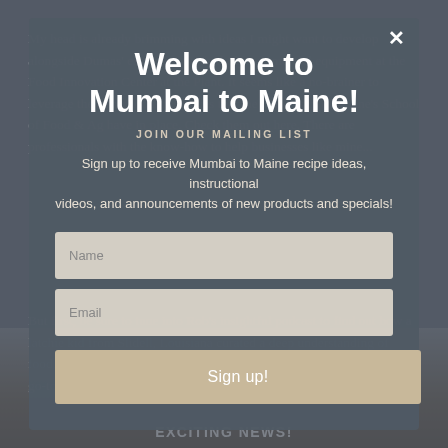My head is already brimming with ideas I might want to develop alongside Dumas' expertise, particularly commercial equipment at the Food Innovation Center at the Plant. It seems like a no-brainer to leverage the tremendous resources that the University of Maine's School of Food & Ag have in place. Check them out here. There are professionals with the know-how to help businesses like mine...
But first, be sure to tune into Rob's insightful podcast to find out how a latchie kid from Slidell, Louisiana curated a deep understanding of food... one that greatly influences his gig as Maine's food innovation go-to-guy!
Welcome to Mumbai to Maine!
JOIN OUR MAILING LIST
Sign up to receive Mumbai to Maine recipe ideas, instructional videos, and announcements of new products and specials!
Name
Email
Sign up!
EXCITING NEWS!